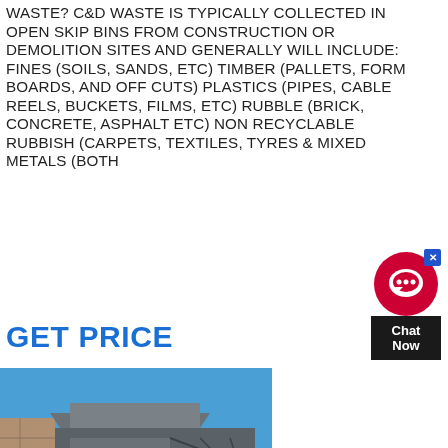WASTE? C&D WASTE IS TYPICALLY COLLECTED IN OPEN SKIP BINS FROM CONSTRUCTION OR DEMOLITION SITES AND GENERALLY WILL INCLUDE: FINES (SOILS, SANDS, ETC) TIMBER (PALLETS, FORM BOARDS, AND OFF CUTS) PLASTICS (PIPES, CABLE REELS, BUCKETS, FILMS, ETC) RUBBLE (BRICK, CONCRETE, ASPHALT ETC) NON RECYCLABLE RUBBISH (CARPETS, TEXTILES, TYRES & MIXED METALS (BOTH
GET PRICE
[Figure (photo): Photo of industrial construction waste processing machinery/equipment on a site with blue sky background and stone/rubble ground]
CONSTRUCTION WASTE
CONSTRUCTION WASTE OR DEBRIS IS ANY KIND OF